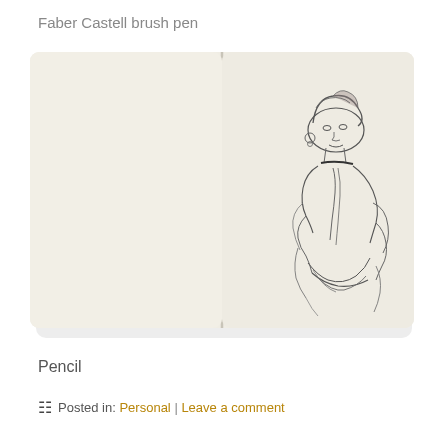Faber Castell brush pen
[Figure (illustration): Open sketchbook showing a pencil sketch of a woman in Victorian dress with hair up, on the right page. Left page is blank. The sketchbook has rounded corners and a slight shadow.]
Pencil
Posted in: Personal | Leave a comment